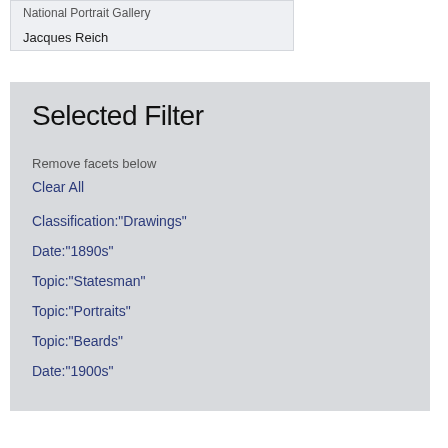National Portrait Gallery
Jacques Reich
Selected Filter
Remove facets below
Clear All
Classification:"Drawings"
Date:"1890s"
Topic:"Statesman"
Topic:"Portraits"
Topic:"Beards"
Date:"1900s"